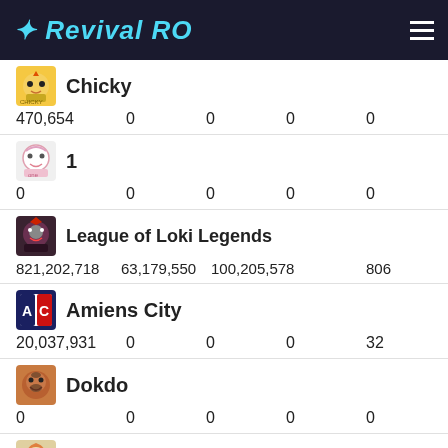Revival RO
| Guild | Stat1 | Stat2 | Stat3 | Stat4 | Stat5 |
| --- | --- | --- | --- | --- | --- |
| Chicky | 470,654 | 0 | 0 | 0 | 0 |
| 1 | 0 | 0 | 0 | 0 | 0 |
| League of Loki Legends | 821,202,718 | 63,179,550 | 100,205,578 |  | 806 |
| Amiens City | 20,037,931 | 0 | 0 | 0 | 32 |
| Dokdo | 0 | 0 | 0 | 0 | 0 |
| Save Our Soul | 0 | 0 | 0 | 0 | 0 |
| Sicario | 8,800,569 | 0 | 3,100,210 | 0 | 12 |